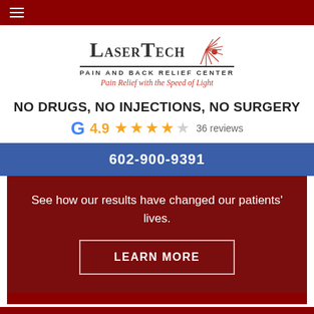≡ (hamburger menu)
[Figure (logo): LaserTech Pain and Back Relief Center logo with red starburst. Tagline: Pain Relief with the Speed of Light]
NO DRUGS, NO INJECTIONS, NO SURGERY
4.9 ★★★★☆ 36 reviews (Google rating)
602-900-9391
See how our results have changed our patients' lives.
LEARN MORE